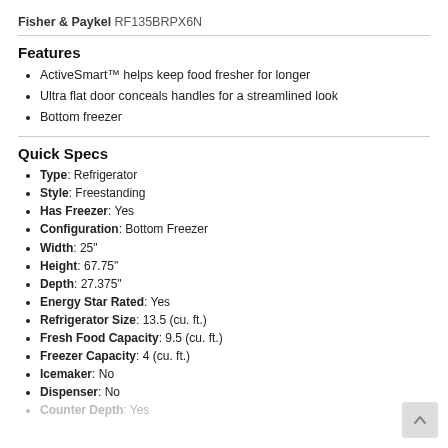Fisher & Paykel RF135BRPX6N
Features
ActiveSmart™ helps keep food fresher for longer
Ultra flat door conceals handles for a streamlined look
Bottom freezer
Quick Specs
Type: Refrigerator
Style: Freestanding
Has Freezer: Yes
Configuration: Bottom Freezer
Width: 25"
Height: 67.75"
Depth: 27.375"
Energy Star Rated: Yes
Refrigerator Size: 13.5 (cu. ft.)
Fresh Food Capacity: 9.5 (cu. ft.)
Freezer Capacity: 4 (cu. ft.)
Icemaker: No
Dispenser: No
Counter Depth: Yes